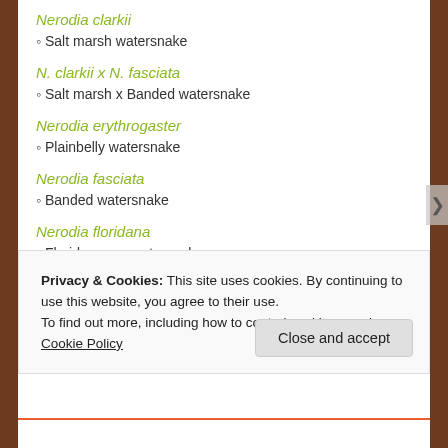Nerodia clarkii
◦ Salt marsh watersnake
N. clarkii x N. fasciata
◦ Salt marsh x Banded watersnake
Nerodia erythrogaster
◦ Plainbelly watersnake
Nerodia fasciata
◦ Banded watersnake
Nerodia floridana
◦ Florida green watersnake
Nerodia rhombifer
◦ Diamondback watersnake
Privacy & Cookies: This site uses cookies. By continuing to use this website, you agree to their use.
To find out more, including how to control cookies, see here: Cookie Policy